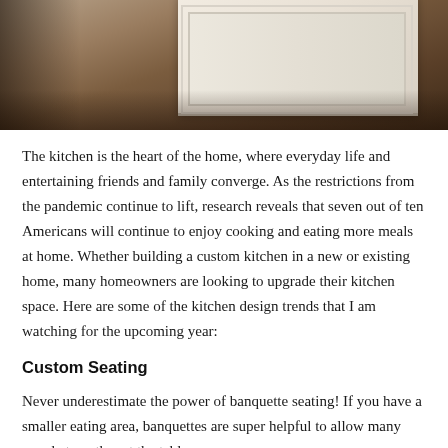[Figure (photo): Kitchen interior showing white cabinetry/island base and dark hardwood floor with warm wood tones]
The kitchen is the heart of the home, where everyday life and entertaining friends and family converge. As the restrictions from the pandemic continue to lift, research reveals that seven out of ten Americans will continue to enjoy cooking and eating more meals at home. Whether building a custom kitchen in a new or existing home, many homeowners are looking to upgrade their kitchen space. Here are some of the kitchen design trends that I am watching for the upcoming year:
Custom Seating
Never underestimate the power of banquette seating! If you have a smaller eating area, banquettes are super helpful to allow many people to gather at the table